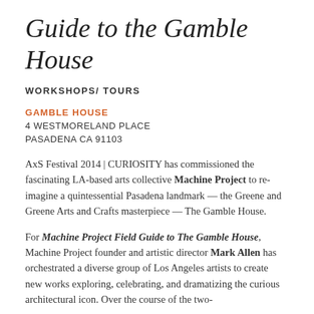Guide to the Gamble House
WORKSHOPS/ TOURS
GAMBLE HOUSE
4 WESTMORELAND PLACE
PASADENA CA 91103
AxS Festival 2014 | CURIOSITY has commissioned the fascinating LA-based arts collective Machine Project to re-imagine a quintessential Pasadena landmark — the Greene and Greene Arts and Crafts masterpiece — The Gamble House.
For Machine Project Field Guide to The Gamble House, Machine Project founder and artistic director Mark Allen has orchestrated a diverse group of Los Angeles artists to create new works exploring, celebrating, and dramatizing the curious architectural icon. Over the course of the two-